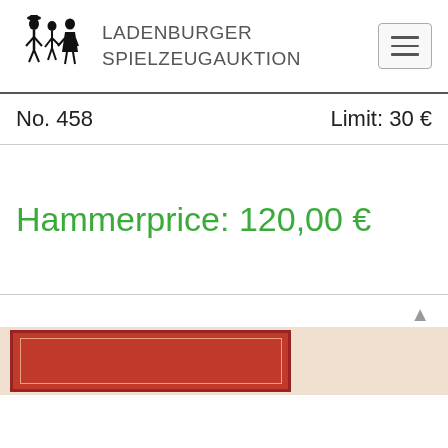LADENBURGER SPIELZEUGAUKTION
No. 458
Limit: 30 €
Hammerprice: 120,00 €
[Figure (photo): Partial view of a red-bordered toy auction item box at the bottom of the page]